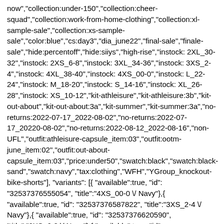now","collection:under-150","collection:cheer-squad","collection:work-from-home-clothing","collection:xl-sample-sale","collection:xs-sample-sale","color:blue","cs:day3","dia_june22","final-sale","finale-sale","hide:percentoff","hide:siiys","high-rise","instock: 2XL_30-32","instock: 2XS_6-8","instock: 3XL_34-36","instock: 3XS_2-4","instock: 4XL_38-40","instock: 4XS_00-0","instock: L_22-24","instock: M_18-20","instock: S_14-16","instock: XL_26-28","instock: XS_10-12","kit-athleisure","kit-athleisure:3b","kit-out-about","kit-out-about:3a","kit-summer","kit-summer:3a","no-returns:2022-07-17_2022-08-02","no-returns:2022-07-17_20220-08-02","no-returns:2022-08-12_2022-08-16","non-UFL","outfit:athleisure-capsule_item:03","outfit:ootm-june_item:02","outfit:out-about-capsule_item:03","price:under50","swatch:black","swatch:black-sand","swatch:navy","tax:clothing","WFH","YGroup_knockout-bike-shorts"], "variants": [{ "available":true, "id": "32537376555054", "title":"4XS_00-0 \/ Navy"},{ "available":true, "id": "32537376587822", "title":"3XS_2-4 \/ Navy"},{ "available":true, "id": "32537376620590", "title":"2XS_6-8 \/ Navy"},{ "available":true, "id": "32537376653358", "title":"XS_10-12 \/ Navy"},{ "available":true, "id": "32537376686126", "title":"S_14-16 \/ Navy"},{ "available":true, "id": "32537376718894", "title":"M_18-20 \/ Navy"},{ "available":true, "id": "32537376751662", "title":"L_22-24 \/ Navy"},{ "available":true